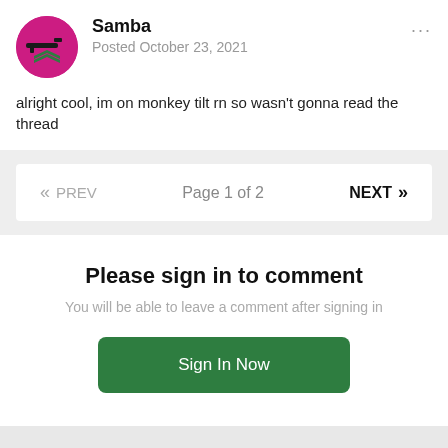[Figure (illustration): Circular avatar with magenta/pink background featuring dark silhouette of military-style chevron arrows graphic]
Samba
Posted October 23, 2021
alright cool, im on monkey tilt rn so wasn't gonna read the thread
« PREV   Page 1 of 2   NEXT »
Please sign in to comment
You will be able to leave a comment after signing in
Sign In Now